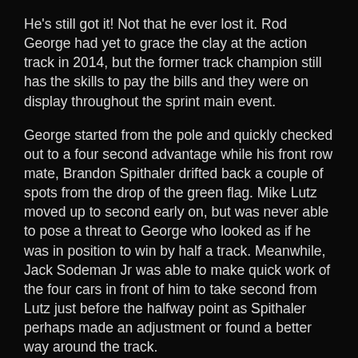He's still got it! Not that he ever lost it. Rod George had yet to grace the clay at the action track in 2014, but the former track champion still has the skills to pay the bills and they were on display throughout the sprint main event.
George started from the pole and quickly checked out to a four second advantage while his front row mate, Brandon Spithaler drifted back a couple of spots from the drop of the green flag. Mike Lutz moved up to second early on, but was never able to pose a threat to George who looked as if he was in position to win by half a track. Meanwhile, Jack Sodeman Jr was able to make quick work of the four cars in front of him to take second from Lutz just before the halfway point as Spithaler perhaps made an adjustment or found a better way around the track.
Whatever he did, it worked and he worked his way back to second. Following a mid race restart Spithaler was as fast as George and perhaps faster in the final laps. A lap 20 caution for Bill Kiley (right front wheel broke), saw the margin between